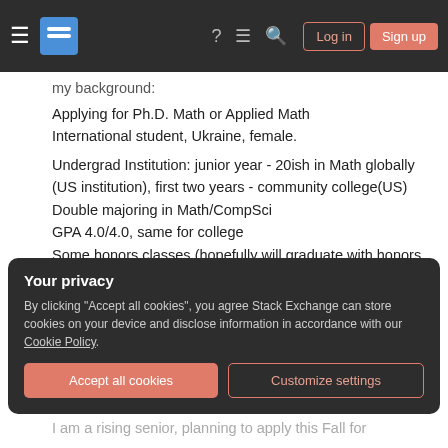Stack Exchange navigation bar with Log in and Sign up buttons
my background:
Applying for Ph.D. Math or Applied Math
International student, Ukraine, female.

Undergrad Institution: junior year - 20ish in Math globally (US institution), first two years - community college(US)
Double majoring in Math/CompSci
GPA 4.0/4.0, same for college
Some honors classes (hopefully will graduate with honors in math), but none graduate level.
Your privacy
By clicking "Accept all cookies", you agree Stack Exchange can store cookies on your device and disclose information in accordance with our Cookie Policy.
I am a rising senior, planning to apply this Fall for